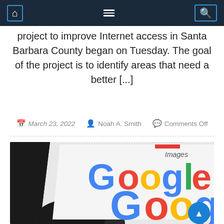Navigation bar with home, menu, and search icons
project to improve Internet access in Santa Barbara County began on Tuesday. The goal of the project is to identify areas that need a better [...]
March 23, 2022   Noah A. Smith   Comments Off
[Figure (photo): Close-up photo of a hand holding a smartphone displaying the Google search page with 'Images' tab visible, photographed in dark lighting.]